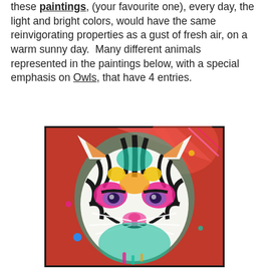these paintings, (your favourite one), every day, the light and bright colors, would have the same reinvigorating properties as a gust of fresh air, on a warm sunny day.  Many different animals represented in the paintings below, with a special emphasis on Owls, that have 4 entries.
[Figure (illustration): A colorful, vibrant painting of a tiger face with bright neon colors including pink, teal, orange, yellow, and red, on a dynamic abstract background. The tiger is depicted in a pop-art/street-art style with bold black outlines and vivid color splashes.]